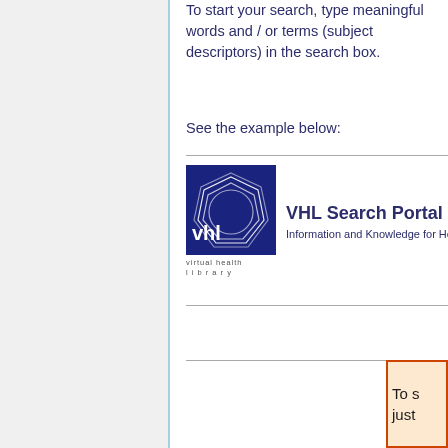To start your search, type meaningful words and / or terms (subject descriptors) in the search box.
See the example below:
[Figure (screenshot): VHL Search Portal logo with blue background showing 'vhl' text and geometric circle design. Text: 'VHL Search Portal — Information and Knowledge for Health']
To s just